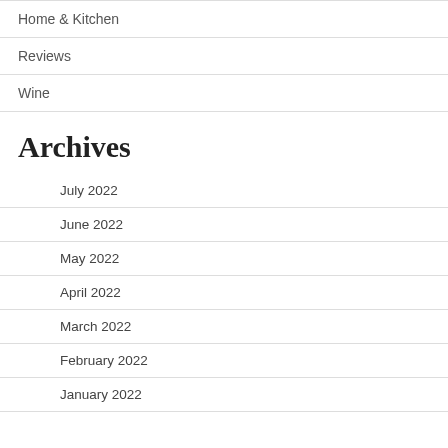Home & Kitchen
Reviews
Wine
Archives
July 2022
June 2022
May 2022
April 2022
March 2022
February 2022
January 2022